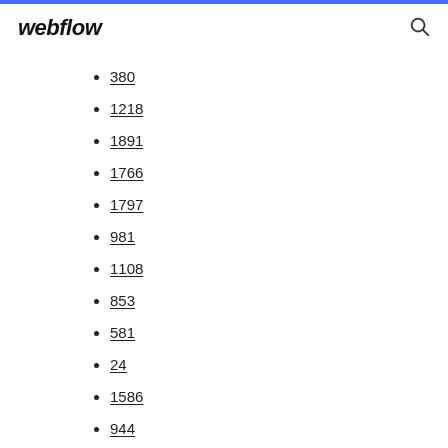webflow
380
1218
1891
1766
1797
981
1108
853
581
24
1586
944